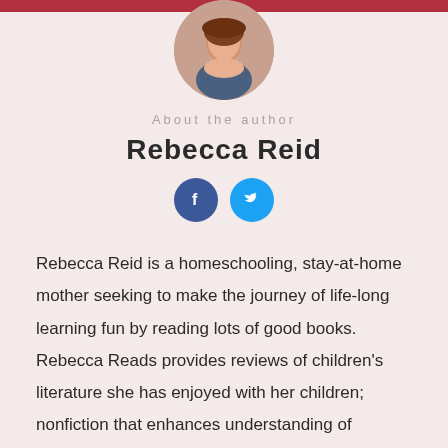[Figure (photo): Circular profile photo of Rebecca Reid, a woman with brown hair, smiling]
About the author
Rebecca Reid
[Figure (other): Social media icons: Facebook (blue circle with f) and Twitter (cyan circle with bird)]
Rebecca Reid is a homeschooling, stay-at-home mother seeking to make the journey of life-long learning fun by reading lots of good books. Rebecca Reads provides reviews of children's literature she has enjoyed with her children; nonfiction that enhances understanding of educational philosophies, history and more; and classical literature that Rebecca enjoys reading.